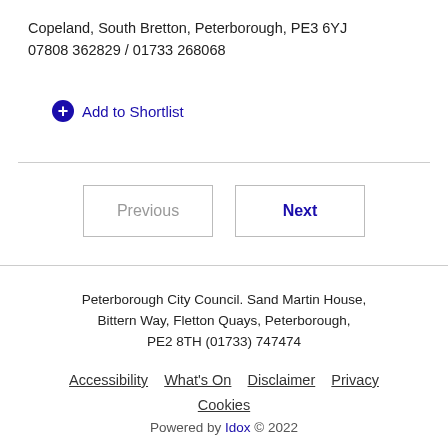Copeland, South Bretton, Peterborough, PE3 6YJ
07808 362829 / 01733 268068
Add to Shortlist
Previous
Next
Peterborough City Council. Sand Martin House, Bittern Way, Fletton Quays, Peterborough, PE2 8TH (01733) 747474
Accessibility  What's On  Disclaimer  Privacy  Cookies
Powered by Idox © 2022